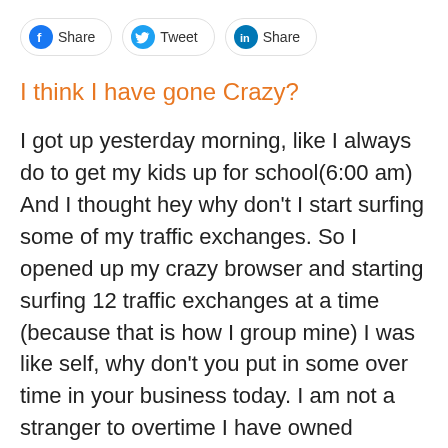[Figure (other): Social sharing buttons: Facebook Share, Twitter Tweet, LinkedIn Share]
I think I have gone Crazy?
I got up yesterday morning, like I always do to get my kids up for school(6:00 am) And I thought hey why don't I start surfing some of my traffic exchanges. So I opened up my crazy browser and starting surfing 12 traffic exchanges at a time (because that is how I group mine) I was like self, why don't you put in some over time in your business today. I am not a stranger to overtime I have owned